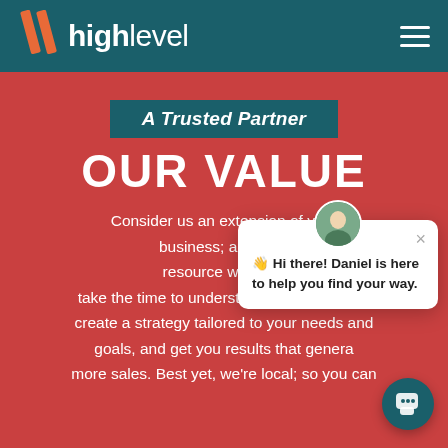high level
A Trusted Partner
OUR VALUE
Consider us an extension of your business; a trusted resource with 10+ ... take the time to understand your company, create a strategy tailored to your needs and goals, and get you results that genera... more sales. Best yet, we're local; so you can
👋 Hi there! Daniel is here to help you find your way.